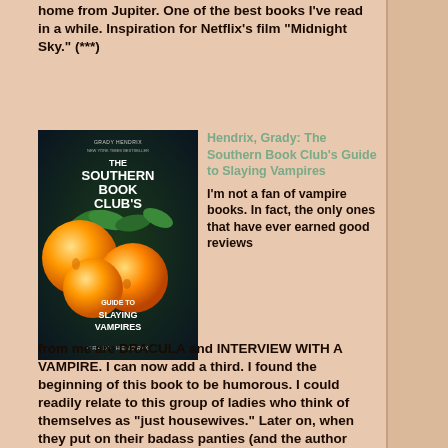home from Jupiter. One of the best books I've read in a while. Inspiration for Netflix's film "Midnight Sky." (***)
[Figure (photo): Book cover of 'The Southern Book Club's Guide to Slaying Vampires' by Grady Hendrix. Dark background with three large orange peaches and green leaves. Title text overlaid.]
Hendrix, Grady: The Southern Book Club's Guide to Slaying Vampires
I'm not a fan of vampire books. In fact, the only ones that have ever earned good reviews from me are DRACULA and INTERVIEW WITH A VAMPIRE. I can now add a third. I found the beginning of this book to be humorous. I could readily relate to this group of ladies who think of themselves as "just housewives." Later on, when they put on their badass panties (and the author pretty much dropped the humor) and fight against evil for their families and neighbors, I could relate to that too-- although I can't say I've ever fought